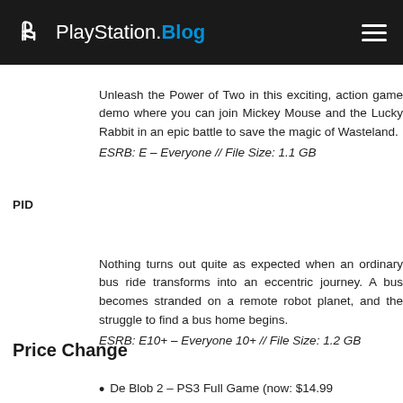PlayStation.Blog
Unleash the Power of Two in this exciting, action game demo where you can join Mickey Mouse and the Lucky Rabbit in an epic battle to save the magic of Wasteland. ESRB: E – Everyone // File Size: 1.1 GB
PID
Nothing turns out quite as expected when an ordinary bus ride transforms into an eccentric journey. A bus becomes stranded on a remote robot planet, and the struggle to find a bus home begins. ESRB: E10+ – Everyone 10+ // File Size: 1.2 GB
Price Change
De Blob 2 – PS3 Full Game (now: $14.99